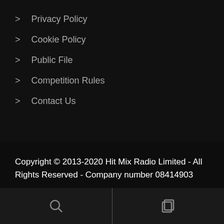Privacy Policy
Cookie Policy
Public File
Competition Rules
Contact Us
Copyright © 2013-2020 Hit Mix Radio Limited - All Rights Reserved - Company number 08414903
[Figure (other): Facebook circular icon and partial logo image, with bottom navigation bar showing search and copy icons]